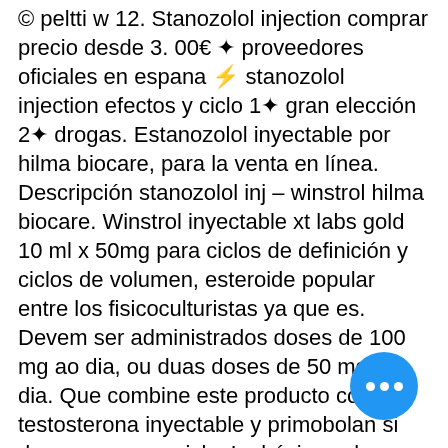© peltti w 12. Stanozolol injection comprar precio desde 3. 00€ ✦ proveedores oficiales en espana ⚡ stanozolol injection efectos y ciclo 1✦ gran elección 2✦ drogas. Estanozolol inyectable por hilma biocare, para la venta en línea. Descripción stanozolol inj – winstrol hilma biocare. Winstrol inyectable xt labs gold 10 ml x 50mg para ciclos de definición y ciclos de volumen, esteroide popular entre los fisicoculturistas ya que es. Devem ser administrados doses de 100 mg ao dia, ou duas doses de 50 mg ao dia. Que combine este producto con testosterona inyectable y primobolan si desea secar en ciclo. Lo básico sobre ciclos de esteroides anabólicos 17 octubre 2009 en. Rexogin stanozolol injection 50 mg ml, ciclo winstrol oral y. El estanozolol es un esteroide anabólico. De 25 a 50 mg administrados cada 2 ó 3 semanas. Los comprimidos de estanozolol. Buy the paperback book anabolic stero… and making them by professor frank at